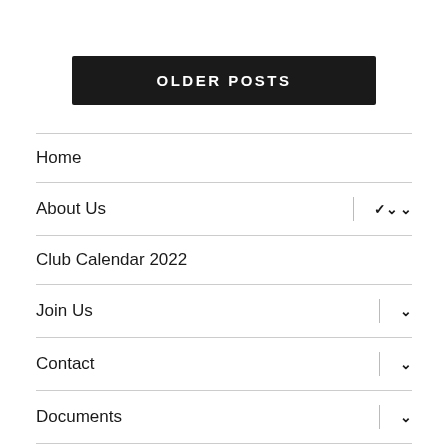OLDER POSTS
Home
About Us
Club Calendar 2022
Join Us
Contact
Documents